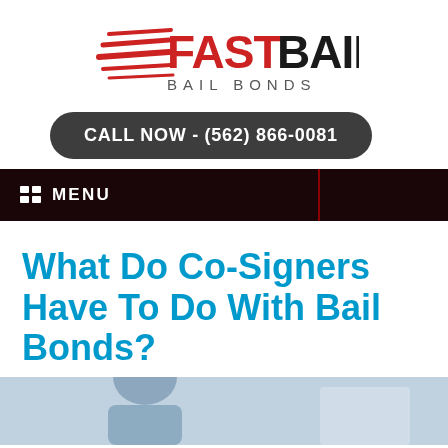[Figure (logo): Fast Bail Bail Bonds logo with red speed lines and bold text]
CALL NOW - (562) 866-0081
MENU
What Do Co-Signers Have To Do With Bail Bonds?
[Figure (photo): Photo of a person, partially visible, cropped at bottom of page]